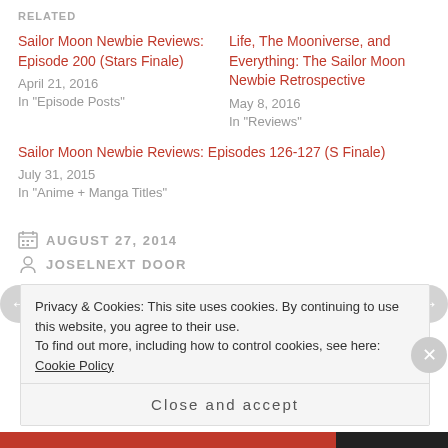RELATED
Sailor Moon Newbie Reviews: Episode 200 (Stars Finale)
April 21, 2016
In "Episode Posts"
Life, The Mooniverse, and Everything: The Sailor Moon Newbie Retrospective
May 8, 2016
In "Reviews"
Sailor Moon Newbie Reviews: Episodes 126-127 (S Finale)
July 31, 2015
In "Anime + Manga Titles"
AUGUST 27, 2014
JOSELNEXT DOOR
Privacy & Cookies: This site uses cookies. By continuing to use this website, you agree to their use.
To find out more, including how to control cookies, see here: Cookie Policy
Close and accept